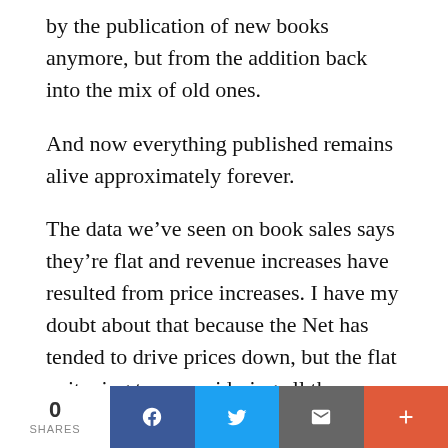by the publication of new books anymore, but from the addition back into the mix of old ones.
And now everything published remains alive approximately forever.
The data we’ve seen on book sales says they’re flat and revenue increases have resulted from price increases. I have my doubt about that because the Net has tended to drive prices down, but the flat units ring true considering all the new competition from the Net for the reading time of the American public.
0 SHARES | Facebook | Twitter | Email | More